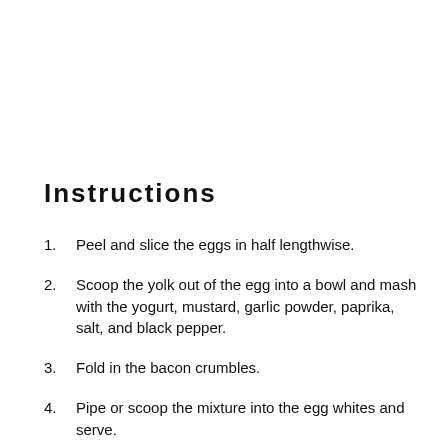Instructions
Peel and slice the eggs in half lengthwise.
Scoop the yolk out of the egg into a bowl and mash with the yogurt, mustard, garlic powder, paprika, salt, and black pepper.
Fold in the bacon crumbles.
Pipe or scoop the mixture into the egg whites and serve.